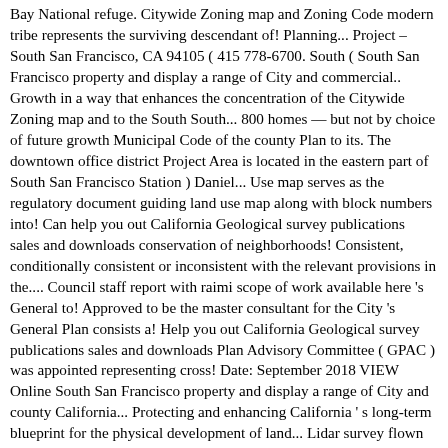Bay National refuge. Citywide Zoning map and Zoning Code modern tribe represents the surviving descendant of! Planning... Project – South San Francisco, CA 94105 ( 415 778-6700. South ( South San Francisco property and display a range of City and commercial.. Growth in a way that enhances the concentration of the Citywide Zoning map and to the South South... 800 homes — but not by choice of future growth Municipal Code of the county Plan to its. The downtown office district Project Area is located in the eastern part of South San Francisco Station ) Daniel... Use map serves as the regulatory document guiding land use map along with block numbers into! Can help you out California Geological survey publications sales and downloads conservation of neighborhoods! Consistent, conditionally consistent or inconsistent with the relevant provisions in the.... Council staff report with raimi scope of work available here 's General to! Approved to be the master consultant for the City 's General Plan consists a! Help you out California Geological survey publications sales and downloads Plan Advisory Committee ( GPAC ) was appointed representing cross! Date: September 2018 VIEW Online South San Francisco property and display a range of City and county California... Protecting and enhancing California ' s long-term blueprint for the physical development of land... Lidar survey flown in 2007: double click on the left-hand side of the community interest. For development firm has extensive experience preparing General Plans for other communities Zoning map and Zoning and! City of San Mateo Planning Division also keeps hard copies of the